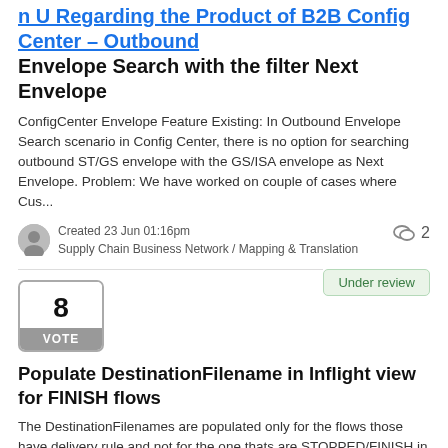n U Regarding the Product of B2B Config Center - Outbound Envelope Search with the filter Next Envelope
ConfigCenter Envelope Feature Existing: In Outbound Envelope Search scenario in Config Center, there is no option for searching outbound ST/GS envelope with the GS/ISA envelope as Next Envelope. Problem: We have worked on couple of cases where Cus...
Created 23 Jun 01:16pm
Supply Chain Business Network / Mapping & Translation
2
Under review
8
VOTE
Populate DestinationFilename in Inflight view for FINISH flows
The DestinationFilenames are populated only for the flows those have delivery rule and not for the one thats are STOPPED/FINISH in GIODE. During System Testing, it will be helpful to check the DestinationFile name where ususally flows are FINISHED...